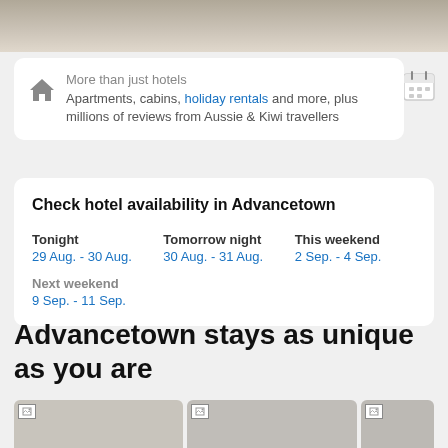[Figure (photo): Top portion of hotel room or interior photo, cropped]
More than just hotels
Apartments, cabins, holiday rentals and more, plus millions of reviews from Aussie & Kiwi travellers
Check hotel availability in Advancetown
Tonight
29 Aug. - 30 Aug.

Tomorrow night
30 Aug. - 31 Aug.

This weekend
2 Sep. - 4 Sep.

Next weekend
9 Sep. - 11 Sep.
Advancetown stays as unique as you are
[Figure (photo): Bottom photo strip showing hotel images]
[Figure (photo): Bottom photo strip middle image]
[Figure (photo): Bottom photo strip right image]